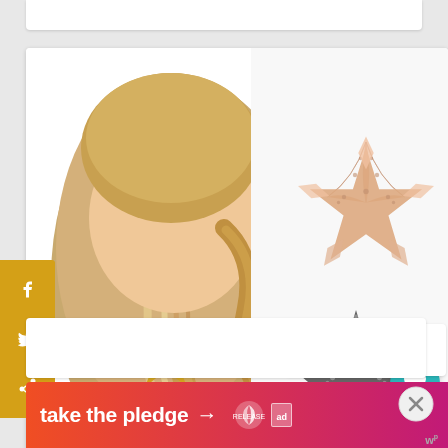[Figure (photo): Starfish hair clip product photo showing a woman with a gold starfish clip in her ponytail, alongside rose gold and black sparkly starfish hair clip accessories]
f
t
p
[Figure (other): Heart icon on teal circle, 5.5K count, share icon on white circle]
5.5K
[Figure (photo): WHAT'S NEXT thumbnail with people outdoors]
WHAT'S NEXT →
Clothes to Wear at...
[Figure (other): Advertisement banner: take the pledge → RELEASE ad marker]
[Figure (other): Close X button]